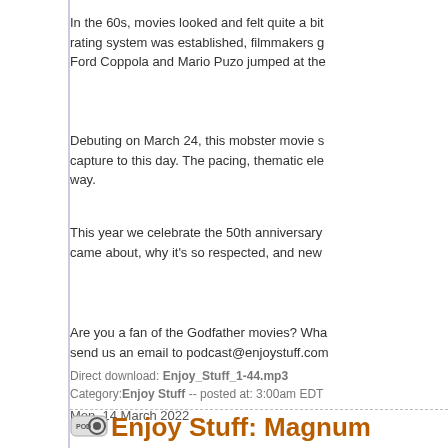In the 60s, movies looked and felt quite a bit different. When the rating system was established, filmmakers got more freedom. Francis Ford Coppola and Mario Puzo jumped at the
Debuting on March 24, this mobster movie s... capture to this day. The pacing, thematic ele... way.
This year we celebrate the 50th anniversary... came about, why it's so respected, and new
Are you a fan of the Godfather movies? Wha... send us an email to podcast@enjoystuff.com
Direct download: Enjoy_Stuff_1-44.mp3
Category: Enjoy Stuff -- posted at: 3:00am EDT
Mon, 14 March 2022
Enjoy Stuff: Magnum
Enjoy Pi Day with Jovial Jay and Shua as th... Investigators of 80s TV. It's a great episode
There are many ways to celebrate Pi Day on... Einstein or share all kinds of round food wit